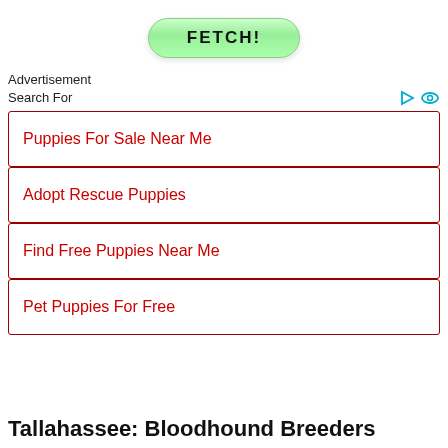[Figure (other): Green pill-shaped button with bold text FETCH!]
Advertisement
Search For
Puppies For Sale Near Me
Adopt Rescue Puppies
Find Free Puppies Near Me
Pet Puppies For Free
Tallahassee: Bloodhound Breeders